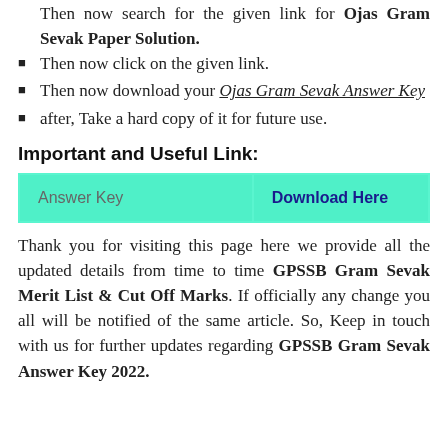Then now click on the given link.
Then now download your Ojas Gram Sevak Answer Key
after, Take a hard copy of it for future use.
Important and Useful Link:
| Answer Key | Download Here |
| --- | --- |
Thank you for visiting this page here we provide all the updated details from time to time GPSSB Gram Sevak Merit List & Cut Off Marks. If officially any change you all will be notified of the same article. So, Keep in touch with us for further updates regarding GPSSB Gram Sevak Answer Key 2022.